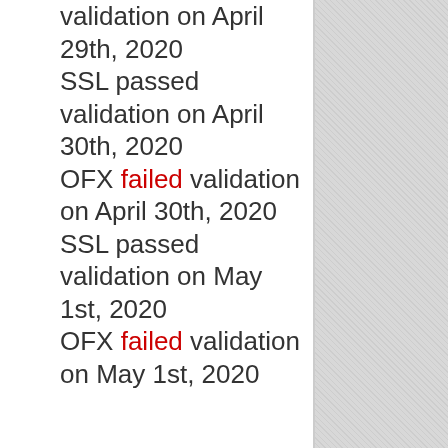validation on April 29th, 2020
SSL passed validation on April 30th, 2020
OFX failed validation on April 30th, 2020
SSL passed validation on May 1st, 2020
OFX failed validation on May 1st, 2020